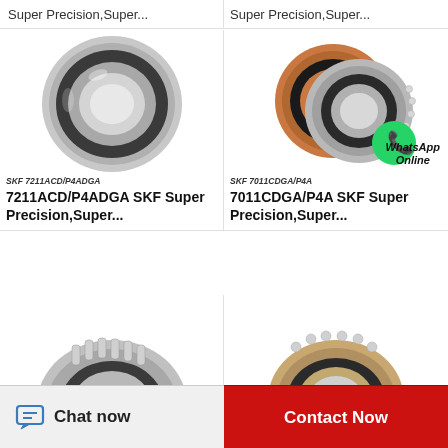Super Precision,Super...
Super Precision,Super...
[Figure (photo): SKF 7211ACD/P4ADGA super precision bearing, single ring shown from front angle]
[Figure (photo): SKF 7011CDGA/P4A super precision bearings, two rings shown with WhatsApp Online badge]
SKF 7211ACD/P4ADGA
SKF 7011CDGA/P4A  WhatsApp Online
7211ACD/P4ADGA SKF Super Precision,Super...
7011CDGA/P4A SKF Super Precision,Super...
[Figure (photo): Partial view of another SKF bearing product, bottom left]
[Figure (photo): Partial view of another SKF bearing product, bottom right]
Chat now
Contact Now